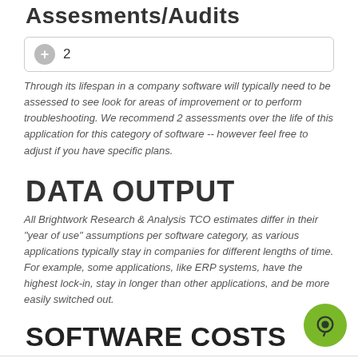Assesments/Audits
[Figure (other): Input field showing value 2 with a plus button]
Through its lifespan in a company software will typically need to be assessed to see look for areas of improvement or to perform troubleshooting. We recommend 2 assessments over the life of this application for this category of software -- however feel free to adjust if you have specific plans.
DATA OUTPUT
All Brightwork Research & Analysis TCO estimates differ in their "year of use" assumptions per software category, as various applications typically stay in companies for different lengths of time. For example, some applications, like ERP systems, have the highest lock-in, stay in longer than other applications, and be more easily switched out.
SOFTWARE COSTS
[Figure (other): Toggle switch in on position (orange) with sun and moon icons]
The initial purchase price.